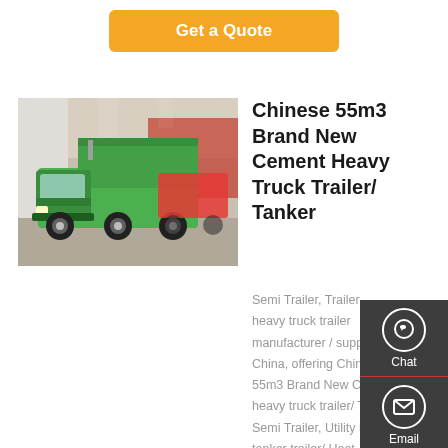Get a Quote
[Figure (photo): Green heavy dump truck at a trade show or exhibition, displayed indoors.]
Chinese 55m3 Brand New Cement Heavy Truck Trailer/ Tanker
Semi Trailer, Trailer, heavy truck trailer manufacturer / supplier in China, offering Chinese 55m3 Brand New Cement heavy truck trailer/ Tanker Semi Trailer, Utility heavy tanker trailer/ Heat Preservation System Tank Semi Trailer, Food oil tank trailer heavy truck trailer/ 54,000 litres